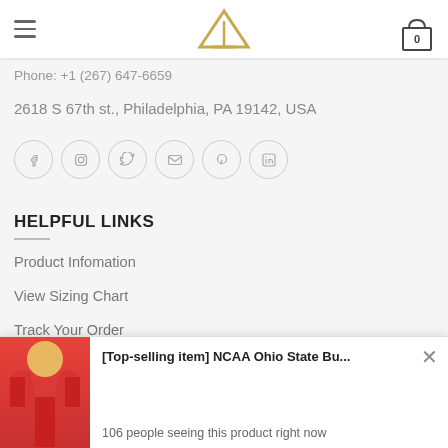Navigation header with hamburger menu, logo, and cart icon showing 0
Phone: +1 (267) 647-6659
2618 S 67th st., Philadelphia, PA 19142, USA
[Figure (infographic): Row of 6 social media icon circles: Facebook, Instagram, Twitter, Email, Pinterest, LinkedIn]
HELPFUL LINKS
Product Infomation
View Sizing Chart
Track Your Order
ORDER HELP
[Figure (photo): Popup notification showing NCAA Ohio State Buckeyes ugly Christmas sweater product image]
[Top-selling item] NCAA Ohio State Bu...
106 people seeing this product right now